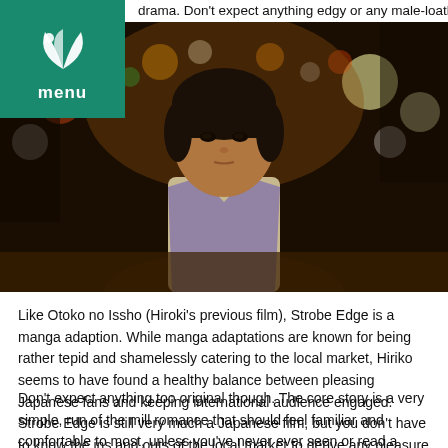drama. Don't expect anything edgy or any male-loathing antics from and you might be in for a very sweet, little romantic treat.
[Figure (photo): Young Japanese man in traditional clothing standing on a night street with city lights in the background.]
Like Otoko no Issho (Hiroki's previous film), Strobe Edge is a manga adaption. While manga adaptations are known for being rather tepid and shamelessly catering to the local market, Hiriko seems to have found a healthy balance between pleasing Japanese fans and keeping international audience engaged. Strobe Edge is still very much a Japanese film, but you don't have to know the ins and outs of the local market to derive any pleasure from it.
Don't expect anything too original though. The core story is a very simple, run of the mill romance that should feel familiar and comfortable to most, unless you've never ever seen or read a